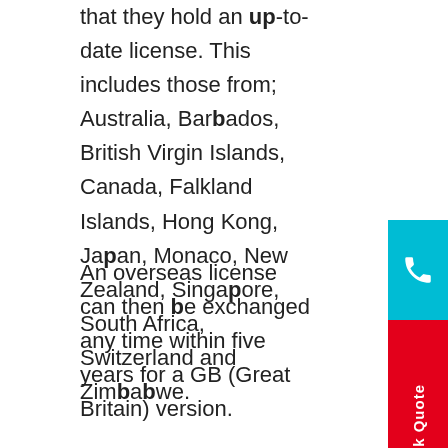that they hold an up-to-date license. This includes those from; Australia, Barbados, British Virgin Islands, Canada, Falkland Islands, Hong Kong, Japan, Monaco, New Zealand, Singapore, South Africa, Switzerland and Zimbabwe.
An overseas license can then be exchanged any time within five years for a GB (Great Britain) version.
Education
Education in Northern Ireland differs from systems used elsewhere in the United Kingdom, although it is relatively similar to Wales. A child's age on 1 July determines the